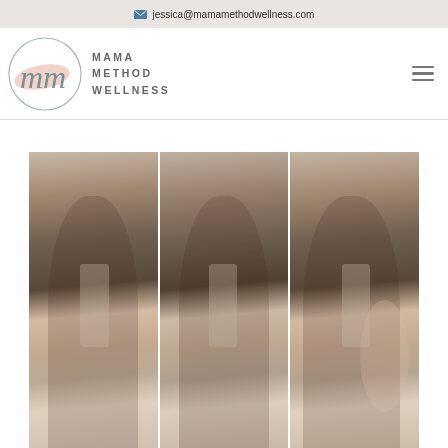jessica@mamamethodwellness.com
[Figure (logo): Mama Method Wellness logo with circular script 'mm' and pink brushstroke, alongside text MAMA METHOD WELLNESS]
[Figure (photo): Three side-by-side mirror selfie photos of a woman in athletic wear showing body progression]